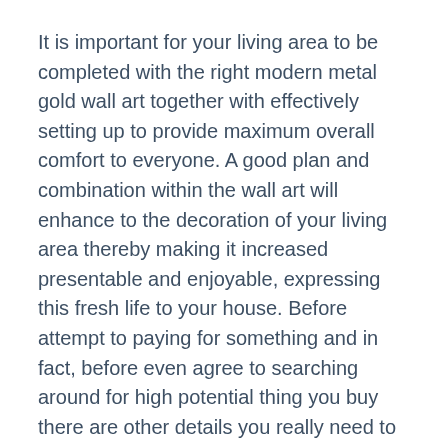It is important for your living area to be completed with the right modern metal gold wall art together with effectively setting up to provide maximum overall comfort to everyone. A good plan and combination within the wall art will enhance to the decoration of your living area thereby making it increased presentable and enjoyable, expressing this fresh life to your house. Before attempt to paying for something and in fact, before even agree to searching around for high potential thing you buy there are other details you really need to make sure you do before anything else.